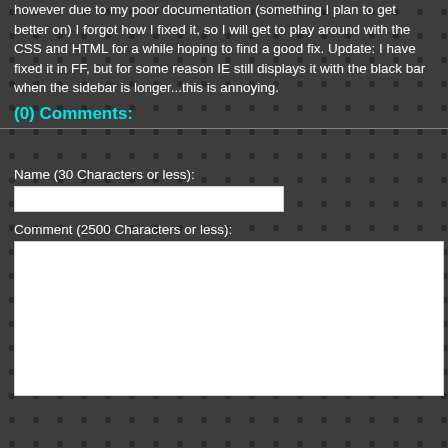however due to my poor documentation (something I plan to get better on) I forgot how I fixed it, so I will get to play around with the CSS and HTML for a while hoping to find a good fix. Update: I have fixed it in FF, but for some reason IE still displays it with the black bar when the sidebar is longer...this is annoying.
(0) Comments:
Name (30 Characters or less):
Comment (2500 Characters or less):